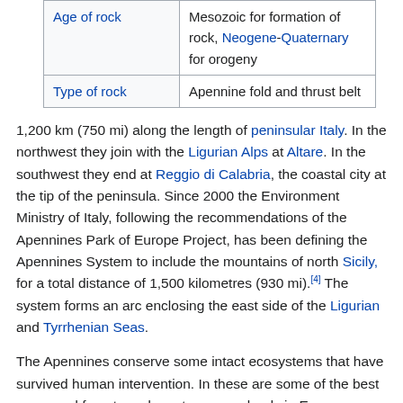|  |  |
| --- | --- |
| Age of rock | Mesozoic for formation of rock, Neogene-Quaternary for orogeny |
| Type of rock | Apennine fold and thrust belt |
1,200 km (750 mi) along the length of peninsular Italy. In the northwest they join with the Ligurian Alps at Altare. In the southwest they end at Reggio di Calabria, the coastal city at the tip of the peninsula. Since 2000 the Environment Ministry of Italy, following the recommendations of the Apennines Park of Europe Project, has been defining the Apennines System to include the mountains of north Sicily, for a total distance of 1,500 kilometres (930 mi).[4] The system forms an arc enclosing the east side of the Ligurian and Tyrrhenian Seas.
The Apennines conserve some intact ecosystems that have survived human intervention. In these are some of the best preserved forests and montane grasslands in Europe, now protected by national parks and, within them, a high diversity of flora and fauna. These mountains are one of the last refuges of the big European predators such as the Italian wolf and the